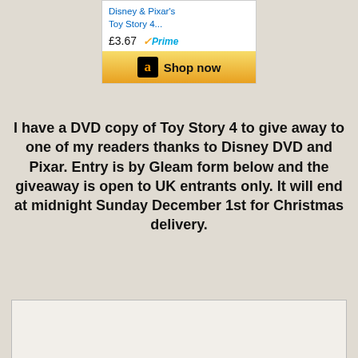[Figure (screenshot): Amazon product widget showing Disney & Pixar's Toy Story 4 DVD at £3.67 with Prime badge and a Shop now button with Amazon logo]
I have a DVD copy of Toy Story 4 to give away to one of my readers thanks to Disney DVD and Pixar. Entry is by Gleam form below and the giveaway is open to UK entrants only. It will end at midnight Sunday December 1st for Christmas delivery.
For a link to help if you are new to Gleam, or to see all of my other Christmas Present Giveaways, take a look at my Giveaways page. No entries are mandatory and your details will ONLY be used to administrate this giveaway, then they are deleted. Full terms and conditions at the bottom of the Gleam form.